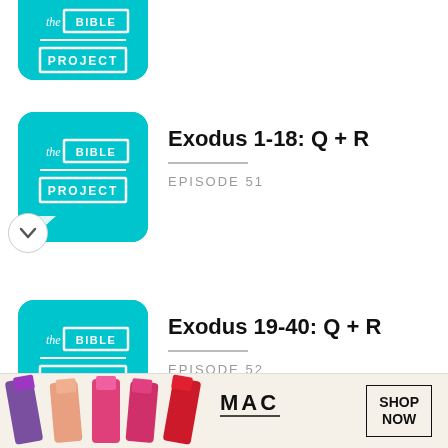[Figure (screenshot): The Bible Project podcast app screenshot showing episode list with teal/cyan logo thumbnails]
Exodus 1-18: Q + R
EPISODE 51
Exodus 19-40: Q + R
EPISODE 52
How to Read the Bible Part 5: Why isn't there more detail in
[Figure (advertisement): MAC cosmetics advertisement showing lipsticks with SHOP NOW button]